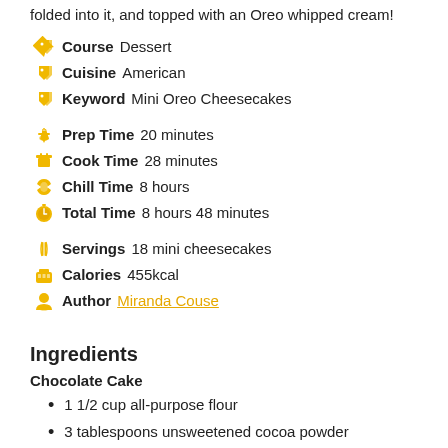folded into it, and topped with an Oreo whipped cream!
Course  Dessert
Cuisine  American
Keyword  Mini Oreo Cheesecakes
Prep Time  20 minutes
Cook Time  28 minutes
Chill Time  8 hours
Total Time  8 hours 48 minutes
Servings  18 mini cheesecakes
Calories  455kcal
Author  Miranda Couse
Ingredients
Chocolate Cake
1 1/2 cup all-purpose flour
3 tablespoons unsweetened cocoa powder
1 teaspoon baking soda
1/2 teaspoon salt
10 tablespoons butter  room temperature